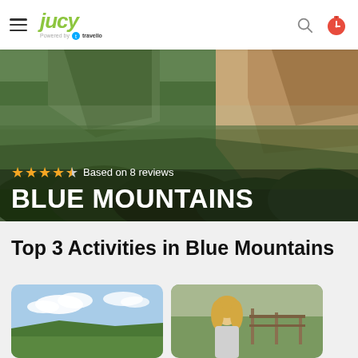JUCY — powered by Travello
[Figure (photo): Aerial landscape photo of Blue Mountains with dramatic sandstone cliffs and dense green forest canopy]
★★★★½ Based on 8 reviews
BLUE MOUNTAINS
Top 3 Activities in Blue Mountains
[Figure (photo): Card thumbnail showing blue sky with clouds — first activity]
[Figure (photo): Card thumbnail showing blonde woman outdoors — second activity]